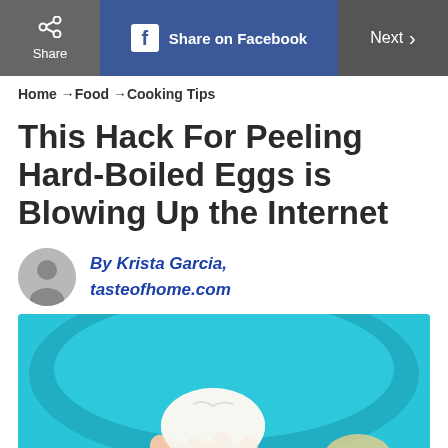Share | Share on Facebook | Next
Home → Food → Cooking Tips
This Hack For Peeling Hard-Boiled Eggs is Blowing Up the Internet
By Krista Garcia, tasteofhome.com
[Figure (photo): Hands holding a hard-boiled egg over a blue bowl, peeling the shell off]